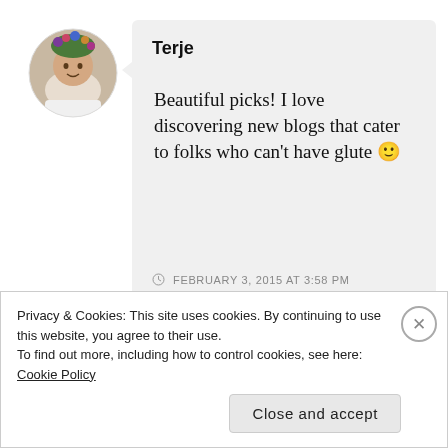[Figure (photo): Circular avatar photo of a woman with flowers in her hair, smiling]
Terje
Beautiful picks! I love discovering new blogs that cater to folks who can’t have glute 🙂
FEBRUARY 3, 2015 AT 3:58 PM
↪ REPLY
Privacy & Cookies: This site uses cookies. By continuing to use this website, you agree to their use.
To find out more, including how to control cookies, see here: Cookie Policy
Close and accept